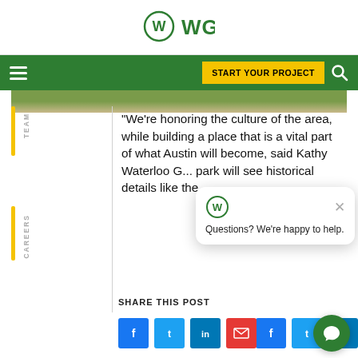[Figure (logo): WGI company logo with W in circle and WGI text, green color]
WGI navigation bar with hamburger menu, START YOUR PROJECT button, and search icon
[Figure (photo): Partial landscape/garden image strip at top of content area]
“We’re honoring the culture of the area, while building a place that is a vital part of what Austin will become, said Kathy Waterloo G... park will see historical details like the
[Figure (other): WGI chat popup with logo, close X button, and text: Questions? We’re happy to help.]
SHARE THIS POST
[Figure (other): Social share buttons: Facebook (blue), Twitter (blue), LinkedIn (blue), Email (red)]
[Figure (other): Green chat bubble button at bottom right]